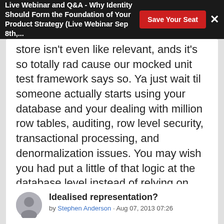Live Webinar and Q&A - Why Identity Should Form the Foundation of Your Product Strategy (Live Webinar Sep 8th,...
store isn't even like relevant, ands it's so totally rad cause our mocked unit test framework says so. Ya just wait til someone actually starts using your database and your dealing with million row tables, auditing, row level security, transactional processing, and denormalization issues. You may wish you had put a little of that logic at the database level instead of relying on your junior programmer to not code that repository class that returns the entire Products table to display the fist 20.
LIKE   REPLY   BACK TO TOP
Idealised representation?
by Stephen Anderson · Aug 07, 2013 07:26